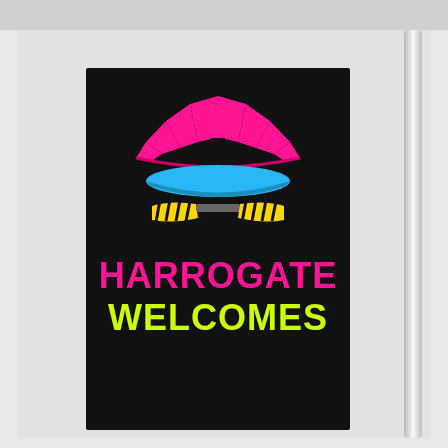[Figure (photo): A black sign board reading 'HARROGATE WELCOMES' in large bold pink and yellow-green text, with a cycling helmet logo above the text showing pink fan-shaped top, blue visor/rim, and yellow striped sunglasses, mounted against a white wall with a vertical rail/pipe visible on the right side.]